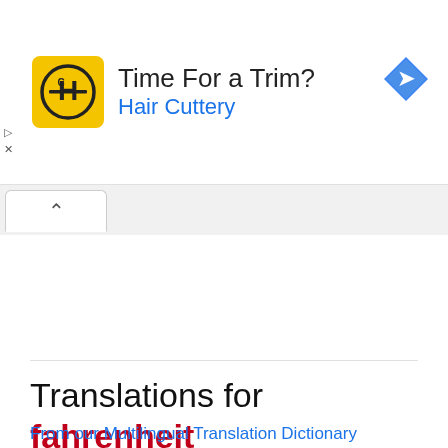[Figure (other): Hair Cuttery advertisement banner with yellow logo, text 'Time For a Trim?' and 'Hair Cuttery', and a blue navigation arrow icon on the right]
[Figure (screenshot): Browser tab interface showing a single tab with a caret/chevron up icon]
Translations for fahrenheit
From our Multilingual Translation Dictionary